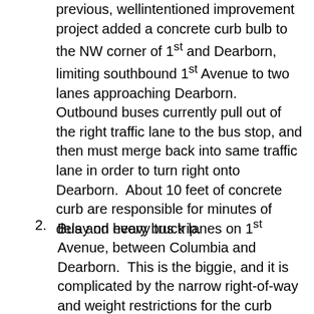previous, well-intentioned improvement project added a concrete curb bulb to the NW corner of 1st and Dearborn, limiting southbound 1st Avenue to two lanes approaching Dearborn.  Outbound buses currently pull out of the right traffic lane to the bus stop, and then must merge back into same traffic lane in order to turn right onto Dearborn.  About 10 feet of concrete curb are responsible for minutes of delay on every bus trip.
Bus and heavy truck lanes on 1st Avenue, between Columbia and Dearborn.  This is the biggie, and it is complicated by the narrow right-of-way and weight restrictions for the curb lanes due to “Underground Seattle” areaways.  On blocks without bus stops, the center lane should be a bus/heavy truck lane, and the curb lane for general traffic.  On the blocks with bus stops